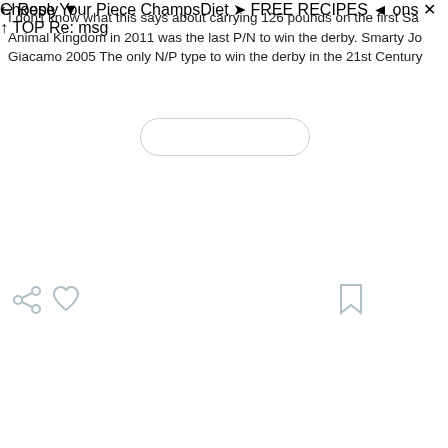I don't know what this says about carrying 126 pounds on the first Sa Animal Kingdom in 2011 was the last P/N to win the derby. Smarty Jo Giacamo 2005 The only N/P type to win the derby in the 21st Century
[Figure (screenshot): A screenshot of a forum/social media post with action icons (share, heart, bookmark, reply button), showing a comment about horse racing. Below is an advertisement image showing a Viking-themed illustration with 'Choose Your Piece' text, and a ChampsDiet ad banner with 'FREE RECIPES' button. A close (X) button and TOP navigation button are visible.]